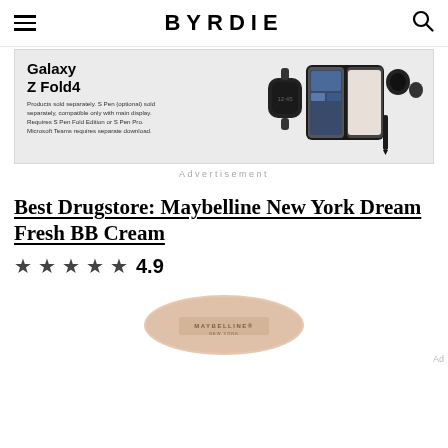BYRDIE
[Figure (photo): Samsung Galaxy Z Fold4 advertisement showing the foldable phone, smartwatch, earbuds, and S Pen with text 'Galaxy Z Fold4'. Fine print: Products sold separately. S Pen (optional) sold separately, compatible only with main display. Requires S Pen Fold Edition or S Pen Pro. Microsoft Teams requires separate download.]
Advertisement
Best Drugstore: Maybelline New York Dream Fresh BB Cream
★★★★★ 4.9
[Figure (photo): Maybelline New York BB cream product tube in a peach/nude color with MAYBELLINE NEW YORK text on it]